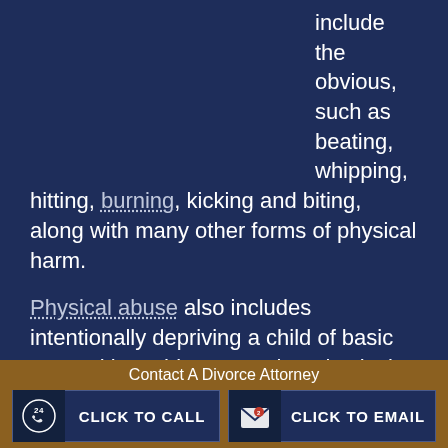include the obvious, such as beating, whipping, hitting, burning, kicking and biting, along with many other forms of physical harm.
Physical abuse also includes intentionally depriving a child of basic necessities. This means that physical abuse includes denying a child of food and water, a bed to sleep in, or seasonally appropriate clothes to wear and safe housing.
Contact A Divorce Attorney | CLICK TO CALL | CLICK TO EMAIL